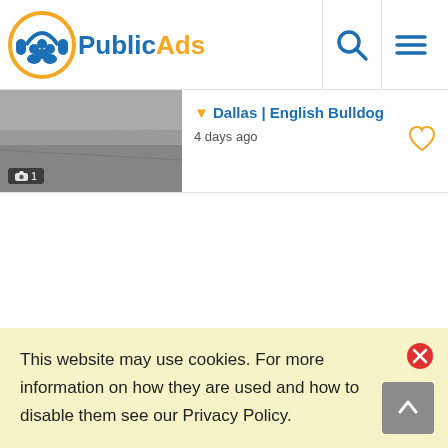PublicAds
[Figure (screenshot): Thumbnail image of a listing, dark/gray toned photo with camera icon badge showing '1']
Dallas | English Bulldog
4 days ago
This website may use cookies. For more information on how they are used and how to disable them see our Privacy Policy.